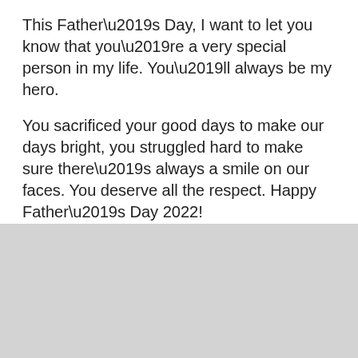This Father’s Day, I want to let you know that you’re a very special person in my life. You’ll always be my hero.
You sacrificed your good days to make our days bright, you struggled hard to make sure there’s always a smile on our faces. You deserve all the respect. Happy Father’s Day 2022!
When I needed you most, you were always there. You stood by me when everyone chose their sides. Thank you for always being there for me. Happy Fathers Day, dad.